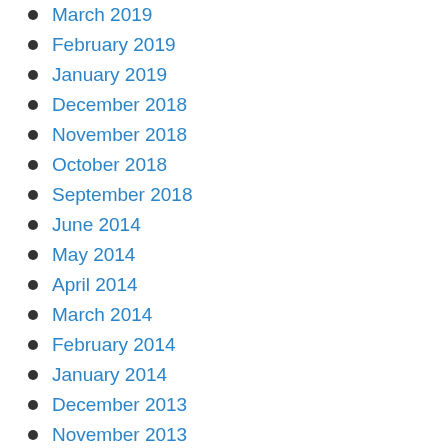March 2019
February 2019
January 2019
December 2018
November 2018
October 2018
September 2018
June 2014
May 2014
April 2014
March 2014
February 2014
January 2014
December 2013
November 2013
October 2013
August 2013